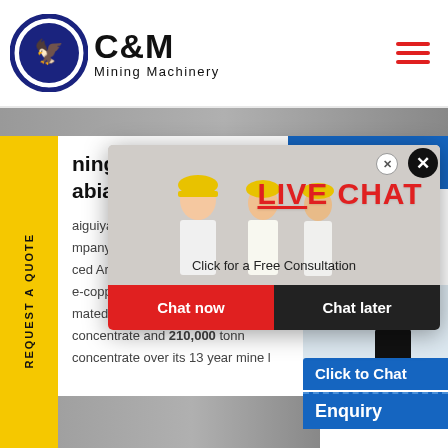C&M Mining Machinery
ning in the Kingdom of Saudi Arabia -
aiguiyah ... mpany b ... ced Arab ... e-copper mine in Khnaiguiyah. T ... mated to be able to produce 1. ... concentrate and 210,000 tonn ... concentrate over its 13 year mine l
[Figure (screenshot): Live Chat popup with workers in hard hats, showing 'LIVE CHAT Click for a Free Consultation', Chat now and Chat later buttons]
REQUEST A QUOTE
Hours Online
Click to Chat
Enquiry